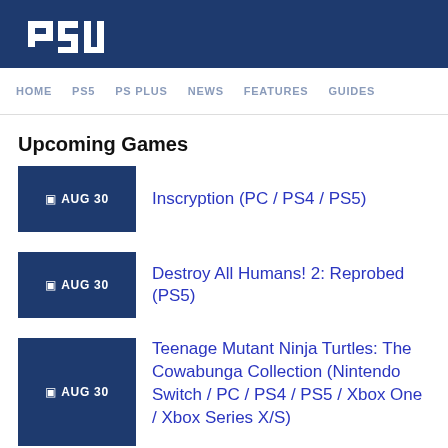PSU
HOME  PS5  PS PLUS  NEWS  FEATURES  GUIDES
Upcoming Games
AUG 30  Inscryption (PC / PS4 / PS5)
AUG 30  Destroy All Humans! 2: Reprobed (PS5)
AUG 30  Teenage Mutant Ninja Turtles: The Cowabunga Collection (Nintendo Switch / PC / PS4 / PS5 / Xbox One / Xbox Series X/S)